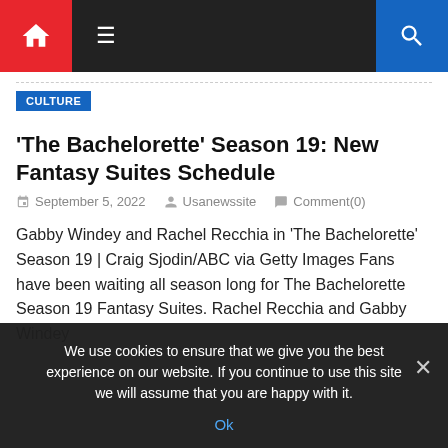Navigation bar with home icon, hamburger menu, and search icon
CULTURE
'The Bachelorette' Season 19: New Fantasy Suites Schedule
September 5, 2022  Usanewssite  Comment(0)
Gabby Windey and Rachel Recchia in 'The Bachelorette' Season 19 | Craig Sjodin/ABC via Getty Images Fans have been waiting all season long for The Bachelorette Season 19 Fantasy Suites. Rachel Recchia and Gabby Windey
We use cookies to ensure that we give you the best experience on our website. If you continue to use this site we will assume that you are happy with it.
Ok